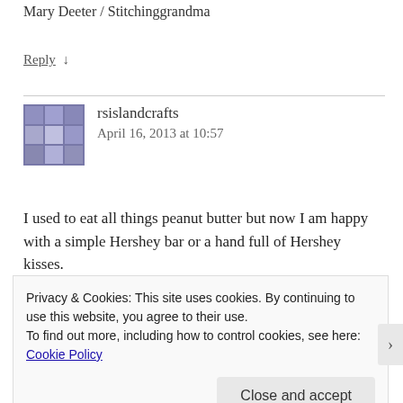Mary Deeter / Stitchinggrandma
Reply ↓
rsislandcrafts
April 16, 2013 at 10:57
I used to eat all things peanut butter but now I am happy with a simple Hershey bar or a hand full of Hershey kisses.
Privacy & Cookies: This site uses cookies. By continuing to use this website, you agree to their use.
To find out more, including how to control cookies, see here: Cookie Policy